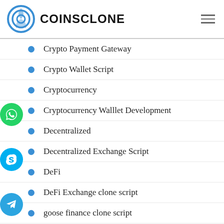COINSCLONE
Crypto Payment Gateway
Crypto Wallet Script
Cryptocurrency
Cryptocurrency Walllet Development
Decentralized
Decentralized Exchange Script
DeFi
DeFi Exchange clone script
goose finance clone script
Initial Exchange Offering
kucoin clone script